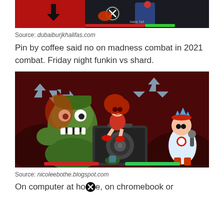[Figure (screenshot): Top cropped game screenshot showing a Friday Night Funkin scene with dark/red background, character arrows, and a circular X button overlay]
Source: dubaiburjkhalifas.com
Pin by coffee said no on madness combat in 2021 combat. Friday night funkin vs shard.
[Figure (screenshot): Friday Night Funkin vs Shard game screenshot showing a green monster clown, a girl sitting on a speaker, and the blue-haired main character holding a microphone, with arrow keys and health bars displayed]
Source: nicoleebothe.blogspot.com
On computer at home, on chromebook or